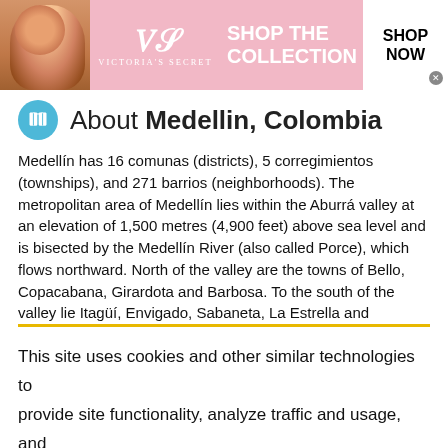[Figure (photo): Victoria's Secret advertisement banner with model, VS logo, 'SHOP THE COLLECTION' text, and SHOP NOW button]
About Medellin, Colombia
Medellín has 16 comunas (districts), 5 corregimientos (townships), and 271 barrios (neighborhoods). The metropolitan area of Medellín lies within the Aburrá valley at an elevation of 1,500 metres (4,900 feet) above sea level and is bisected by the Medellín River (also called Porce), which flows northward. North of the valley are the towns of Bello, Copacabana, Girardota and Barbosa. To the south of the valley lie Itagüí, Envigado, Sabaneta, La Estrella and
This site uses cookies and other similar technologies to provide site functionality, analyze traffic and usage, and
[Figure (photo): Dickies 'Advanced Body Temp Tech' advertisement banner with logo, subtitle text about responsive temperature control technology, and SHOP NOW button on red background]